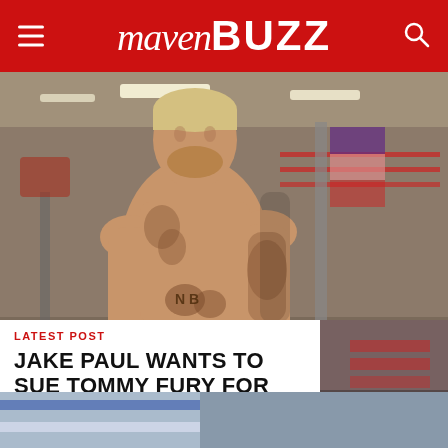Maven Buzz
[Figure (photo): Jake Paul shirtless in boxing gym, showing tattoos, standing in front of a boxing ring]
LATEST POST
JAKE PAUL WANTS TO SUE TOMMY FURY FOR BACKING OUT
[Figure (photo): Partial photo at bottom of page, appears to show a boxing or sports scene]